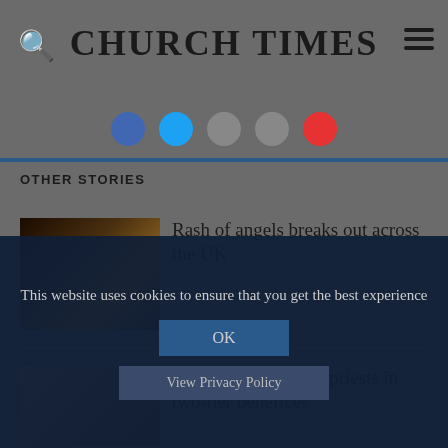CHURCH TIMES
[Figure (other): Social media share icons row: Facebook, Twitter, Email, Bookmark, YouTube]
OTHER STORIES
[Figure (photo): Nighttime photo of illuminated angel or decoration on building]
Rash of angels breaks out across the UK
23 Dec 2020
[Figure (photo): Outdoor stone or landscape photo in muted tones]
It’s a nightmare, say priests in two-tier benefices
This website uses cookies to ensure that you get the best experience
OK
View Privacy Policy